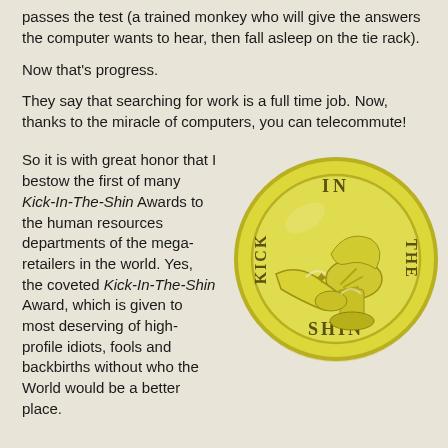passes the test (a trained monkey who will give the answers the computer wants to hear, then fall asleep on the tie rack).
Now that's progress.
They say that searching for work is a full time job. Now, thanks to the miracle of computers, you can telecommute!
So it is with great honor that I bestow the first of many Kick-In-The-Shin Awards to the human resources departments of the mega-retailers in the world. Yes, the coveted Kick-In-The-Shin Award, which is given to most deserving of high-profile idiots, fools and backbirths without who the World would be a better place.
[Figure (illustration): A gold coin with the text KICK IN THE SHIN around the edge, featuring an illustration of a foot kicking a shin in the center.]